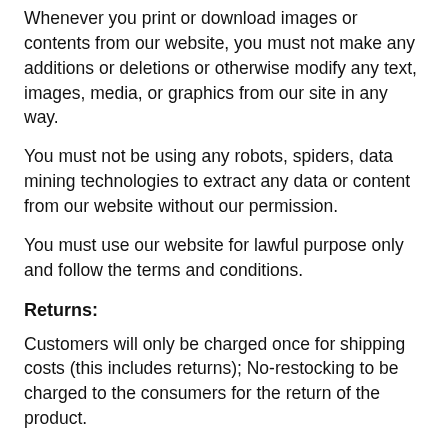Whenever you print or download images or contents from our website, you must not make any additions or deletions or otherwise modify any text, images, media, or graphics from our site in any way.
You must not be using any robots, spiders, data mining technologies to extract any data or content from our website without our permission.
You must use our website for lawful purpose only and follow the terms and conditions.
Returns:
Customers will only be charged once for shipping costs (this includes returns); No-restocking to be charged to the consumers for the return of the product.
In the event ships for free, customer will be informed of the return shipment cost (estimates may be given based on our own costs in shipping to customers).